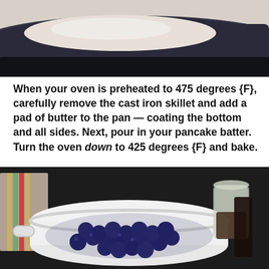[Figure (photo): Close-up of a cast iron skillet with cream-colored batter being poured in, dark background]
When your oven is preheated to 475 degrees {F}, carefully remove the cast iron skillet and add a pad of butter to the pan — coating the bottom and all sides. Next, pour in your pancake batter. Turn the oven down to 425 degrees {F} and bake.
[Figure (photo): A white colander bowl filled with fresh blueberries on a dark surface, with a glass jar of syrup in the background and a colorful striped cloth to the left]